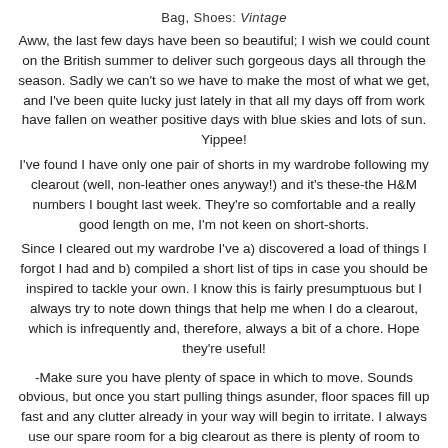Bag, Shoes: Vintage
Aww, the last few days have been so beautiful; I wish we could count on the British summer to deliver such gorgeous days all through the season. Sadly we can't so we have to make the most of what we get, and I've been quite lucky just lately in that all my days off from work have fallen on weather positive days with blue skies and lots of sun. Yippee!
I've found I have only one pair of shorts in my wardrobe following my clearout (well, non-leather ones anyway!) and it's these-the H&M numbers I bought last week. They're so comfortable and a really good length on me, I'm not keen on short-shorts.
Since I cleared out my wardrobe I've a) discovered a load of things I forgot I had and b) compiled a short list of tips in case you should be inspired to tackle your own. I know this is fairly presumptuous but I always try to note down things that help me when I do a clearout, which is infrequently and, therefore, always a bit of a chore. Hope they're useful!
-Make sure you have plenty of space in which to move. Sounds obvious, but once you start pulling things asunder, floor spaces fill up fast and any clutter already in your way will begin to irritate. I always use our spare room for a big clearout as there is plenty of room to sort and if I get behind and don't manage to finish I can close the door, forget the mess and continue tomorrow.